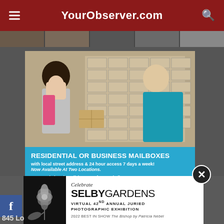YourObserver.com
[Figure (photo): UPS Store advertisement showing a woman receiving a package from a male UPS store employee in front of a wall of mailboxes. Bottom section is cyan/blue with text about residential or business mailboxes.]
RESIDENTIAL OR BUSINESS MAILBOXES with local street address & 24 hour access 7 days a week! Now Available At Two Locations. 11523 Palmbrush Trail (Corner of LWR Blvd) 941.751.6245 14621 SR70 East (Corner of Lorraine) 941.909.2080
[Figure (logo): The UPS Store logo illustration with storefront graphic]
[Figure (photo): Selby Gardens advertisement with black and white orchid flower photo on left and text on right reading: Celebrate SELBY GARDENS VIRTUAL 42ND ANNUAL JURIED PHOTOGRAPHIC EXHIBITION 2022 BEST IN SHOW The Bishop by Patricia Nebel]
845 Lo